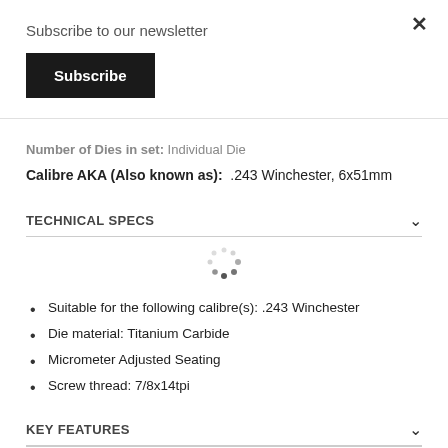Subscribe to our newsletter
Subscribe
Number of Dies in set: Individual Die
Calibre AKA (Also known as): .243 Winchester, 6x51mm
TECHNICAL SPECS
Suitable for the following calibre(s): .243 Winchester
Die material: Titanium Carbide
Micrometer Adjusted Seating
Screw thread: 7/8x14tpi
KEY FEATURES